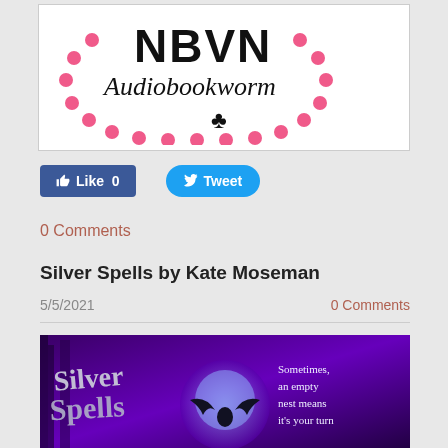[Figure (logo): NBVN Audiobookworm logo with pink dots arranged in a circle and a club symbol]
[Figure (screenshot): Facebook Like button showing Like 0 and Twitter Tweet button]
0 Comments
Silver Spells by Kate Moseman
5/5/2021
0 Comments
[Figure (illustration): Book cover for Silver Spells showing purple forest background with a glowing orb and winged creature, text reads: Silver Spells, Sometimes, an empty nest means it's your turn]